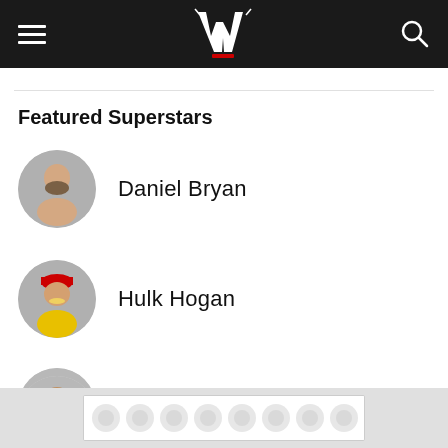WWE navigation bar with hamburger menu, WWE logo, and search icon
Featured Superstars
Daniel Bryan
Hulk Hogan
Randy Orton
Batista
[Figure (other): Advertisement banner with bubble/hexagon pattern]